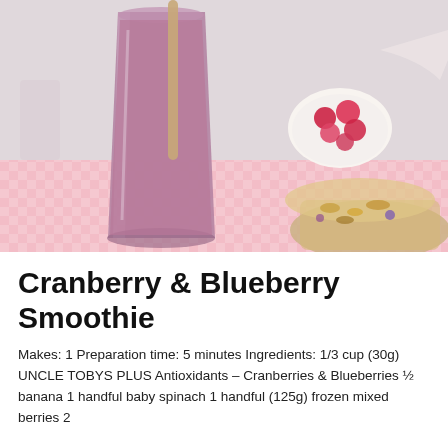[Figure (photo): A tall glass of purple-pink cranberry and blueberry smoothie with a straw, set on a pink checkered cloth. A small bowl of raspberries is visible in the background along with a plate of granola.]
Cranberry & Blueberry Smoothie
Makes: 1 Preparation time: 5 minutes Ingredients: 1/3 cup (30g) UNCLE TOBYS PLUS Antioxidants – Cranberries & Blueberries ½ banana 1 handful baby spinach 1 handful (125g) frozen mixed berries 2